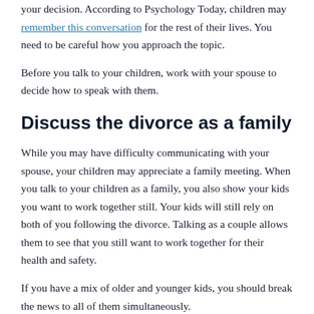your decision. According to Psychology Today, children may remember this conversation for the rest of their lives. You need to be careful how you approach the topic.
Before you talk to your children, work with your spouse to decide how to speak with them.
Discuss the divorce as a family
While you may have difficulty communicating with your spouse, your children may appreciate a family meeting. When you talk to your children as a family, you also show your kids you want to work together still. Your kids will still rely on both of you following the divorce. Talking as a couple allows them to see that you still want to work together for their health and safety.
If you have a mix of older and younger kids, you should break the news to all of them simultaneously.